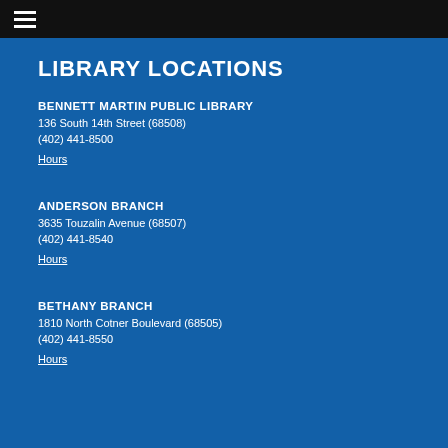LIBRARY LOCATIONS
BENNETT MARTIN PUBLIC LIBRARY
136 South 14th Street (68508)
(402) 441-8500
Hours
ANDERSON BRANCH
3635 Touzalin Avenue (68507)
(402) 441-8540
Hours
BETHANY BRANCH
1810 North Cotner Boulevard (68505)
(402) 441-8550
Hours